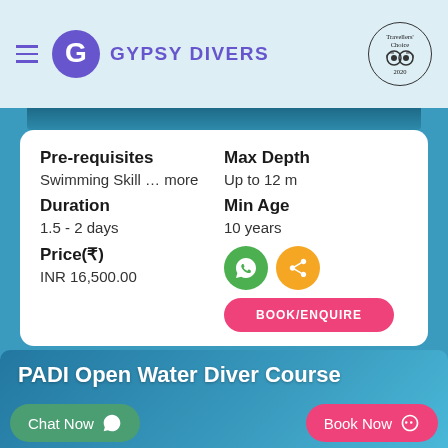GYPSY DIVERS
Pre-requisites: Swimming Skill ... more | Max Depth: Up to 12 m | Duration: 1.5 - 2 days | Min Age: 10 years | Price(₹): INR 16,500.00
BOOK/ENQUIRE
PADI Open Water Diver Course
Chat Now
Book Now